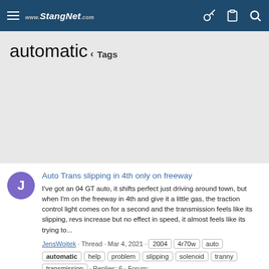StangNet.com — navigation header
automatic
< Tags
Auto Trans slipping in 4th only on freeway — I've got an 04 GT auto, it shifts perfect just driving around town, but when I'm on the freeway in 4th and give it a little gas, the traction control light comes on for a second and the transmission feels like its slipping, revs increase but no effect in speed, it almost feels like its trying to...
JensWojtek · Thread · Mar 4, 2021 · 2004 · 4r70w · auto · automatic · help · problem · slipping · solenoid · tranny · transmission · Replies: 6 · Forum: 1996 - 2004 SN95 Mustang -General/Talk-